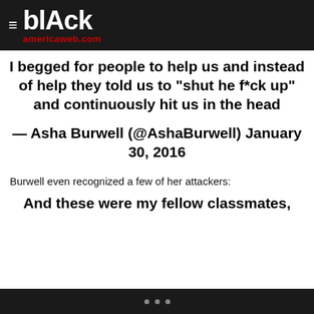≡ blAck americaweb.com
I begged for people to help us and instead of help they told us to "shut he f*ck up" and continuously hit us in the head
— Asha Burwell (@AshaBurwell) January 30, 2016
Burwell even recognized a few of her attackers:
And these were my fellow classmates,
• • •